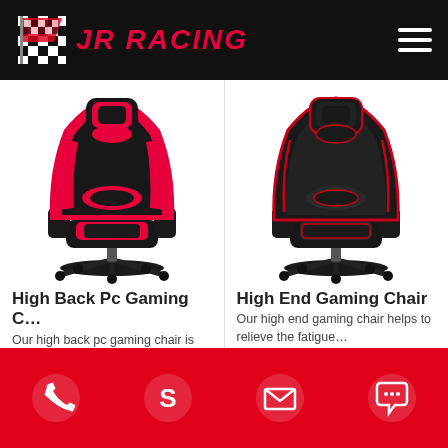JR RACING
[Figure (photo): High Back Pc Gaming Chair with black and pink/red color scheme, front view]
High Back Pc Gaming C…
Our high back pc gaming chair is Integrated metal frame,…
Add to Inquiry
[Figure (photo): High End Gaming Chair with black and red color scheme, front view]
High End Gaming Chair
Our high end gaming chair helps to relieve the fatigue…
Add to Inquiry
Phone, Skype, Email, Chat icons